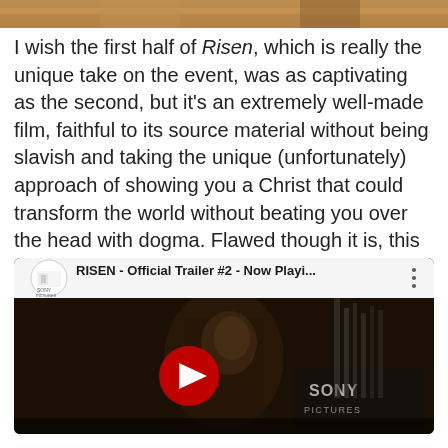[Figure (photo): Partial image of a scene from the film Risen, cropped at top of page]
I wish the first half of Risen, which is really the unique take on the event, was as captivating as the second, but it's an extremely well-made film, faithful to its source material without being slavish and taking the unique (unfortunately) approach of showing you a Christ that could transform the world without beating you over the head with dogma. Flawed though it is, this is the best Biblical film that I've seen in a long time and well worth your time as a rental 7.50/10
[Figure (screenshot): YouTube video thumbnail for RISEN - Official Trailer #2 - Now Playi... with Sony Pictures logo and a man's face visible in dark scene, with red play button overlay]